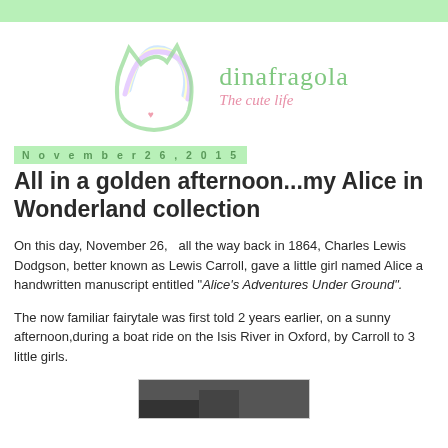[Figure (logo): dinafragola blog logo — green cat head outline with rainbow stripes, text 'dinafragola' in green and tagline 'The cute life' in pink italic]
November 26, 2015
All in a golden afternoon...my Alice in Wonderland collection
On this day, November 26,  all the way back in 1864, Charles Lewis Dodgson, better known as Lewis Carroll, gave a little girl named Alice a handwritten manuscript entitled "Alice's Adventures Under Ground". The now familiar fairytale was first told 2 years earlier, on a sunny afternoon,during a boat ride on the Isis River in Oxford, by Carroll to 3 little girls.
[Figure (photo): Small thumbnail photo, partially visible at bottom of page]